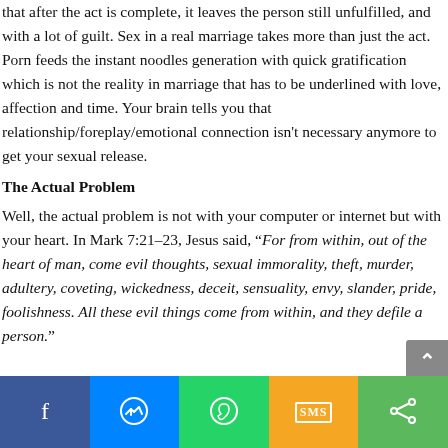that after the act is complete, it leaves the person still unfulfilled, and with a lot of guilt. Sex in a real marriage takes more than just the act. Porn feeds the instant noodles generation with quick gratification which is not the reality in marriage that has to be underlined with love, affection and time. Your brain tells you that relationship/foreplay/emotional connection isn't necessary anymore to get your sexual release.
The Actual Problem
Well, the actual problem is not with your computer or internet but with your heart. In Mark 7:21–23, Jesus said, “For from within, out of the heart of man, come evil thoughts, sexual immorality, theft, murder, adultery, coveting, wickedness, deceit, sensuality, envy, slander, pride, foolishness. All these evil things come from within, and they defile a person.”
[Figure (infographic): Social media share bar with Facebook, Messenger, WhatsApp, SMS, and Share buttons]